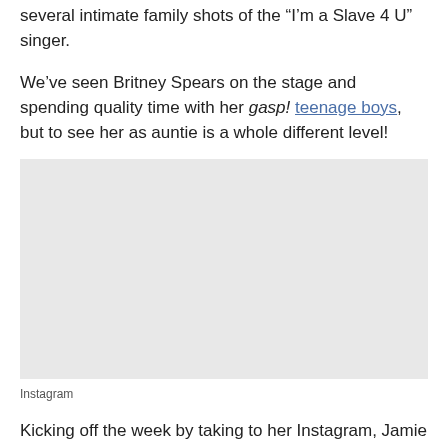several intimate family shots of the "I'm a Slave 4 U" singer.
We've seen Britney Spears on the stage and spending quality time with her gasp! teenage boys, but to see her as auntie is a whole different level!
[Figure (photo): Instagram photo placeholder area]
Instagram
Kicking off the week by taking to her Instagram, Jamie Lynn Spears paid homage to the most